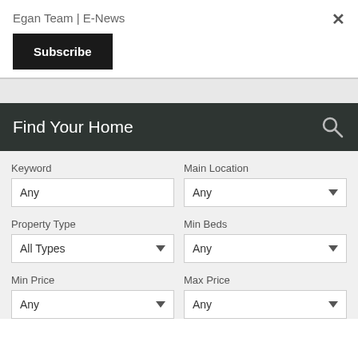Egan Team | E-News
×
Subscribe
Find Your Home
Keyword
Any
Main Location
Any
Property Type
All Types
Min Beds
Any
Min Price
Any
Max Price
Any